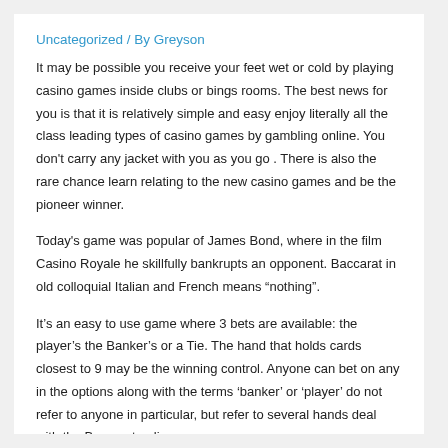Uncategorized / By Greyson
It may be possible you receive your feet wet or cold by playing casino games inside clubs or bings rooms. The best news for you is that it is relatively simple and easy enjoy literally all the class leading types of casino games by gambling online. You don't carry any jacket with you as you go . There is also the rare chance learn relating to the new casino games and be the pioneer winner.
Today's game was popular of James Bond, where in the film Casino Royale he skillfully bankrupts an opponent. Baccarat in old colloquial Italian and French means “nothing”.
It’s an easy to use game where 3 bets are available: the player’s the Banker’s or a Tie. The hand that holds cards closest to 9 may be the winning control. Anyone can bet on any in the options along with the terms ‘banker’ or ‘player’ do not refer to anyone in particular, but refer to several hands deal with the Baccarat online